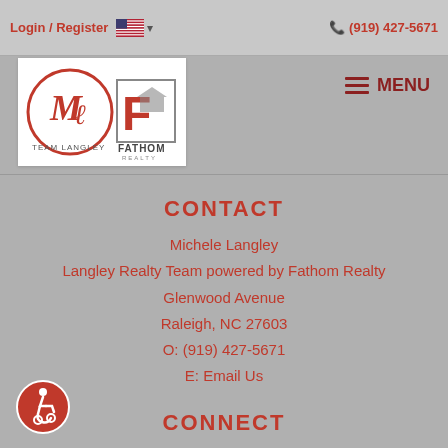Login / Register  🇺🇸 ▾       📞 (919) 427-5671
[Figure (logo): Team Langley and Fathom Realty logos side by side on white background]
≡ MENU
CONTACT
Michele Langley
Langley Realty Team powered by Fathom Realty
Glenwood Avenue
Raleigh, NC 27603
O: (919) 427-5671
E: Email Us
CONNECT
in LinkedIn
▶ YouTube
[Figure (illustration): Accessibility icon: person in wheelchair on red circular badge]